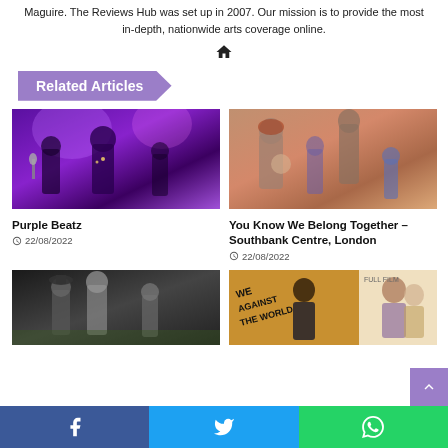Maguire. The Reviews Hub was set up in 2007. Our mission is to provide the most in-depth, nationwide arts coverage online.
[Figure (illustration): Home icon (house symbol)]
Related Articles
[Figure (photo): Concert photo with purple lighting, performers on stage]
Purple Beatz
22/08/2022
[Figure (photo): Vintage family photo showing adults and children]
You Know We Belong Together – Southbank Centre, London
22/08/2022
[Figure (photo): Theatre performance with actors on stage]
[Figure (photo): Movie poster - We Against the World]
[Figure (illustration): Scroll to top button (purple arrow up)]
Facebook share | Twitter share | WhatsApp share